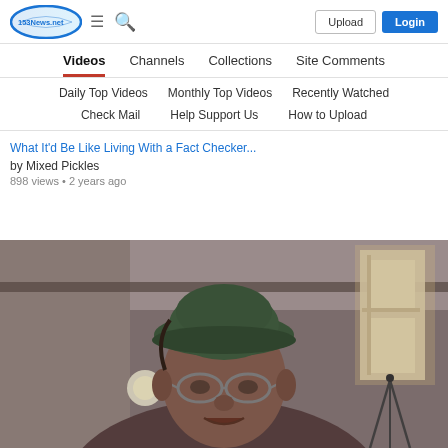153News.net — Upload | Login
Videos | Channels | Collections | Site Comments
Daily Top Videos | Monthly Top Videos | Recently Watched
Check Mail | Help Support Us | How to Upload
What It'd Be Like Living With a Fact Checker...
by Mixed Pickles
898 views • 2 years ago
[Figure (photo): Screenshot of a man wearing a dark green hat and glasses, appearing to be in a home setting with a window visible on the right and a tripod in the background. The image is from a video on 153News.net.]